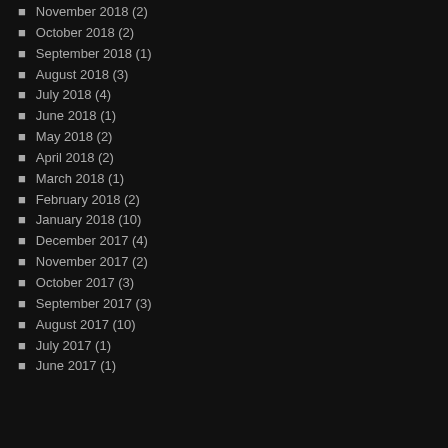November 2018 (2)
October 2018 (2)
September 2018 (1)
August 2018 (3)
July 2018 (4)
June 2018 (1)
May 2018 (2)
April 2018 (2)
March 2018 (1)
February 2018 (2)
January 2018 (10)
December 2017 (4)
November 2017 (2)
October 2017 (3)
September 2017 (3)
August 2017 (10)
July 2017 (1)
June 2017 (1)